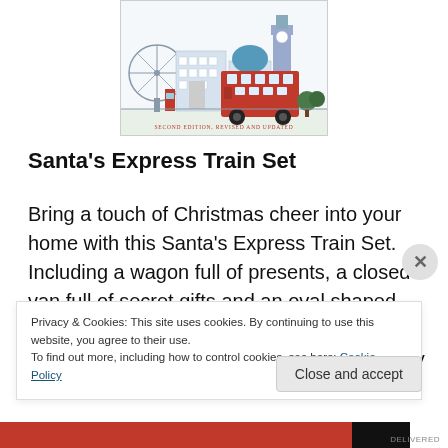[Figure (illustration): Book cover illustration showing London landmarks: London Eye, Big Ben, a red double-decker bus, buildings with blue dome, and a red phone box. Text below reads 'SECOND EDITION, REVISED AND UPDATED' in small red letters.]
Santa's Express Train Set
Bring a touch of Christmas cheer into your home with this Santa's Express Train Set. Including a wagon full of presents, a closed van full of secret gifts and an oval shaped track, this set is perfect to set up around the base of your Christmas tree. It is powered by a mains plug and
Privacy & Cookies: This site uses cookies. By continuing to use this website, you agree to their use.
To find out more, including how to control cookies, see here: Cookie Policy
Close and accept